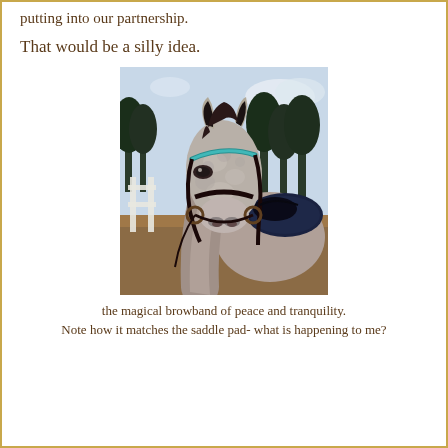putting into our partnership.
That would be a silly idea.
[Figure (photo): Close-up photo of a grey dapple horse wearing a dark bridle with a teal/turquoise browband and a dark navy saddle pad, standing in an outdoor paddock with white fence and trees in the background.]
the magical browband of peace and tranquility.
Note how it matches the saddle pad- what is happening to me?